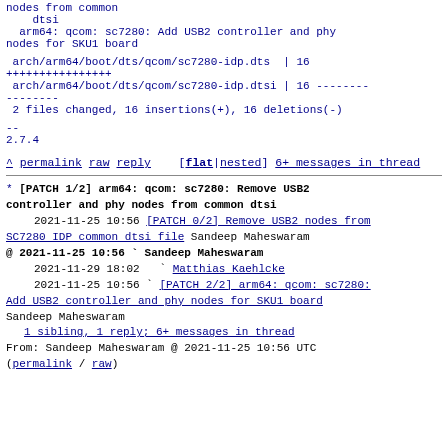nodes from common
    dtsi
  arm64: qcom: sc7280: Add USB2 controller and phy nodes for SKU1 board
arch/arm64/boot/dts/qcom/sc7280-idp.dts  | 16 ++++++++++++++++
arch/arm64/boot/dts/qcom/sc7280-idp.dtsi | 16 ----------------
2 files changed, 16 insertions(+), 16 deletions(-)
--
2.7.4
^ permalink raw reply    [flat|nested] 6+ messages in thread
* [PATCH 1/2] arm64: qcom: sc7280: Remove USB2 controller and phy nodes from common dtsi
   2021-11-25 10:56 [PATCH 0/2] Remove USB2 nodes from SC7280 IDP common dtsi file Sandeep Maheswaram
@ 2021-11-25 10:56 ` Sandeep Maheswaram
   2021-11-29 18:02   ` Matthias Kaehlcke
   2021-11-25 10:56 ` [PATCH 2/2] arm64: qcom: sc7280: Add USB2 controller and phy nodes for SKU1 board Sandeep Maheswaram
  1 sibling, 1 reply; 6+ messages in thread
From: Sandeep Maheswaram @ 2021-11-25 10:56 UTC
(permalink / raw)